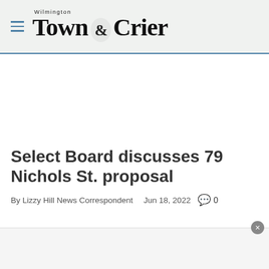Wilmington Town Crier
Select Board discusses 79 Nichols St. proposal
By Lizzy Hill News Correspondent  Jun 18, 2022  🗨 0